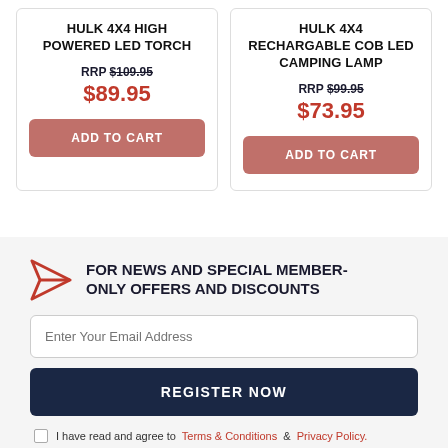HULK 4X4 HIGH POWERED LED TORCH
RRP $109.95
$89.95
HULK 4X4 RECHARGABLE COB LED CAMPING LAMP
RRP $99.95
$73.95
FOR NEWS AND SPECIAL MEMBER-ONLY OFFERS AND DISCOUNTS
Enter Your Email Address
REGISTER NOW
I have read and agree to Terms & Conditions & Privacy Policy.